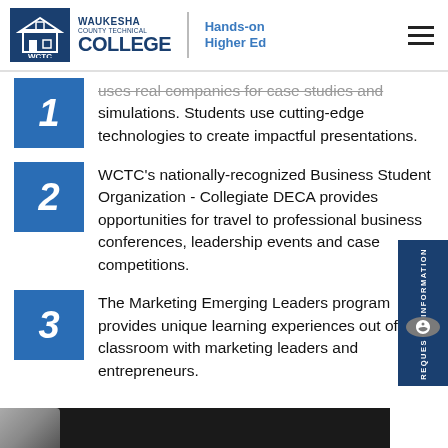[Figure (logo): Waukesha County Technical College logo with WCTC icon, college name, and 'Hands-on Higher Ed' tagline]
uses real companies for case studies and simulations. Students use cutting-edge technologies to create impactful presentations.
WCTC's nationally-recognized Business Student Organization - Collegiate DECA provides opportunities for travel to professional business conferences, leadership events and case competitions.
The Marketing Emerging Leaders program provides unique learning experiences out of the classroom with marketing leaders and entrepreneurs.
[Figure (photo): Bottom strip photo showing a partial person image]